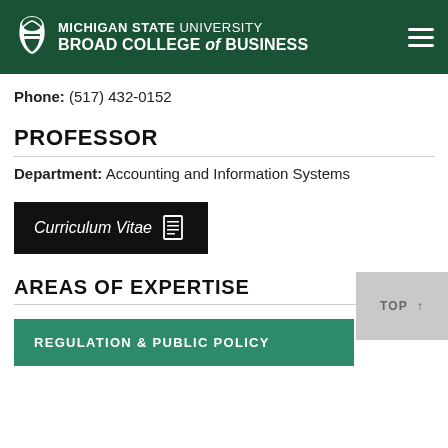Michigan State University Broad College of Business
Phone: (517) 432-0152
PROFESSOR
Department: Accounting and Information Systems
Curriculum Vitae
AREAS OF EXPERTISE
REGULATION & PUBLIC POLICY